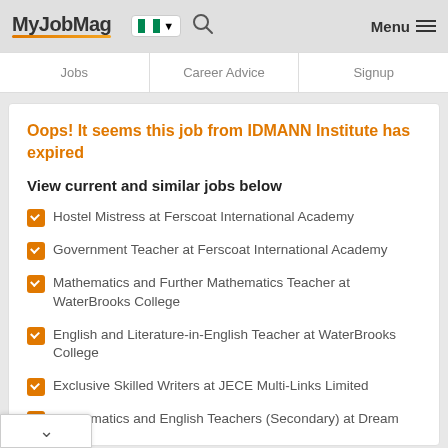MyJobMag
Jobs | Career Advice | Signup
Oops! It seems this job from IDMANN Institute has expired
View current and similar jobs below
Hostel Mistress at Ferscoat International Academy
Government Teacher at Ferscoat International Academy
Mathematics and Further Mathematics Teacher at WaterBrooks College
English and Literature-in-English Teacher at WaterBrooks College
Exclusive Skilled Writers at JECE Multi-Links Limited
Mathematics and English Teachers (Secondary) at Dream